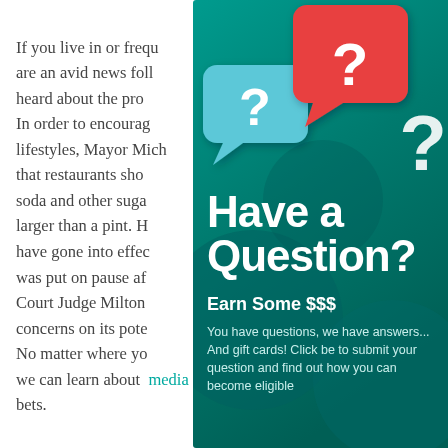If you live in or frequently visit New York City, or are an avid news follower, you've probably heard about the proposed sugary drink ban. In order to encourage New Yorkers to lead healthier lifestyles, Mayor Michael Bloomberg proposed that restaurants should be banned from selling soda and other sugary drinks in containers larger than a pint. His proposed ban would have gone into effect in March 2013, but it was put on pause after New York State Supreme Court Judge Milton Tingling expressed concerns on its potential unconstitutionality. No matter where you stand on the issue, we can learn about the role of media from this situation. Let's place our bets.
[Figure (infographic): Promotional overlay on teal/dark teal background with speech bubble icons (teal and red) containing question marks, large white text 'Have a Question?' and subtext 'Earn Some $$$' with description 'You have questions, we have answers... And gift cards! Click below to submit your question and find out how you can become eligible']